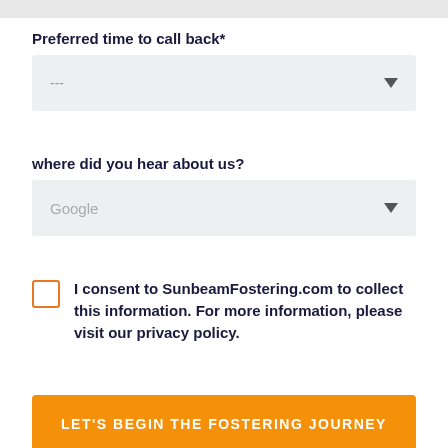Preferred time to call back*
---
where did you hear about us?
Google
I consent to SunbeamFostering.com to collect this information. For more information, please visit our privacy policy.
LET'S BEGIN THE FOSTERING JOURNEY